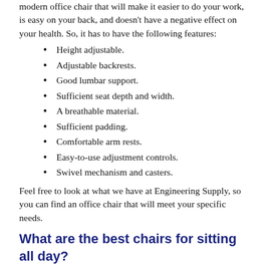modern office chair that will make it easier to do your work, is easy on your back, and doesn't have a negative effect on your health. So, it has to have the following features:
Height adjustable.
Adjustable backrests.
Good lumbar support.
Sufficient seat depth and width.
A breathable material.
Sufficient padding.
Comfortable arm rests.
Easy-to-use adjustment controls.
Swivel mechanism and casters.
Feel free to look at what we have at Engineering Supply, so you can find an office chair that will meet your specific needs.
What are the best chairs for sitting all day?
If you sit at your desk all day, you need to have an office chair that's built for long hours. Sitting down for extended periods of time can strain your back, shoulders, and neck (which can lead to neck, and cervical). So, it's a good...